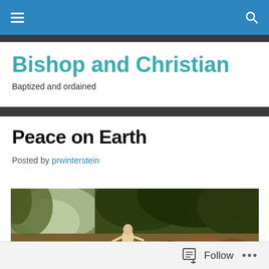Bishop and Christian — navigation bar with hamburger menu and search icon
Bishop and Christian
Baptized and ordained
Peace on Earth
Posted by prwinterstein
[Figure (illustration): Classical oil painting depicting a pastoral peaceful scene with animals and a child figure surrounded by trees and foliage, appearing to be a scene of animals in harmony with a human figure.]
Follow  •••